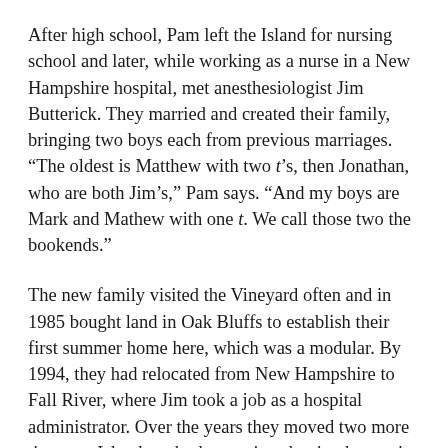After high school, Pam left the Island for nursing school and later, while working as a nurse in a New Hampshire hospital, met anesthesiologist Jim Butterick. They married and created their family, bringing two boys each from previous marriages. “The oldest is Matthew with two t’s, then Jonathan, who are both Jim’s,” Pam says. “And my boys are Mark and Mathew with one t. We call those two the bookends.”
The new family visited the Vineyard often and in 1985 bought land in Oak Bluffs to establish their first summer home here, which was a modular. By 1994, they had relocated from New Hampshire to Fall River, where Jim took a job as a hospital administrator. Over the years they moved two more times on-Island, on both occasions buying homes in Oak Bluffs, before finding the house on Lagoon Pond in 1999 – this one was the keeper. By then Jim was consulting with the Martha’s Vineyard Hospital, so it became their primary residence. “I’m from Michigan and my family had a